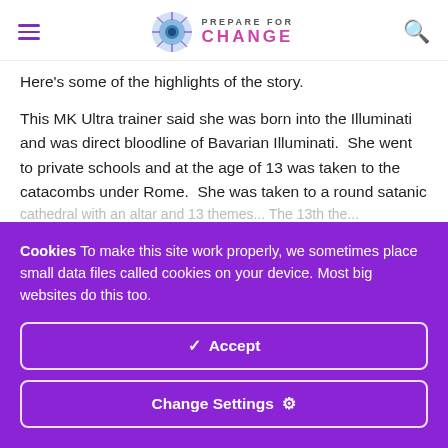Prepare For Change
Here's some of the highlights of the story.
This MK Ultra trainer said she was born into the Illuminati and was direct bloodline of Bavarian Illuminati. She went to private schools and at the age of 13 was taken to the catacombs under Rome. She was taken to a round satanic [text continues]
Cookies To make this site work properly, we sometimes place small data files called cookies on your device. Most big websites do this too.
✓ Accept
Change Settings ⚙